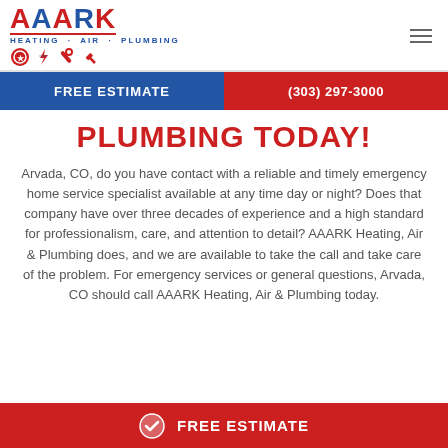[Figure (logo): AAARK Heating Air Plumbing logo with red text and blue subtitle, with tool icons below]
FREE ESTIMATE | (303) 297-3000
PLUMBING TODAY!
Arvada, CO, do you have contact with a reliable and timely emergency home service specialist available at any time day or night? Does that company have over three decades of experience and a high standard for professionalism, care, and attention to detail? AAARK Heating, Air & Plumbing does, and we are available to take the call and take care of the problem. For emergency services or general questions, Arvada, CO should call AAARK Heating, Air & Plumbing today.
FREE ESTIMATE